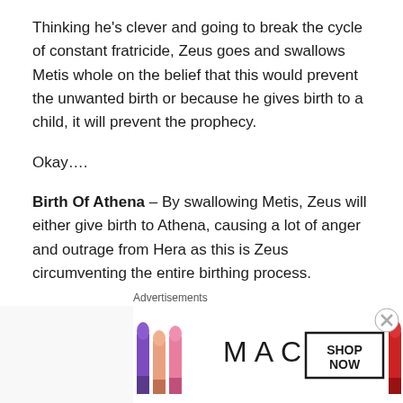Thinking he's clever and going to break the cycle of constant fratricide, Zeus goes and swallows Metis whole on the belief that this would prevent the unwanted birth or because he gives birth to a child, it will prevent the prophecy.
Okay….
Birth Of Athena – By swallowing Metis, Zeus will either give birth to Athena, causing a lot of anger and outrage from Hera as this is Zeus circumventing the entire birthing process.
Hera is so angry with Zeus over this, that she gives birth to Hephaestus by immaculate conception or
Advertisements
[Figure (photo): MAC Cosmetics advertisement banner showing lipsticks and MAC logo with SHOP NOW button]